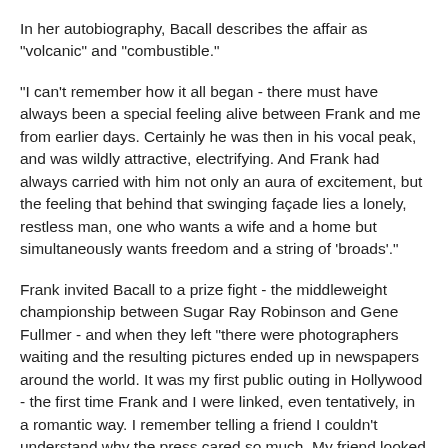In her autobiography, Bacall describes the affair as "volcanic" and "combustible."
"I can't remember how it all began - there must have always been a special feeling alive between Frank and me from earlier days. Certainly he was then in his vocal peak, and was wildly attractive, electrifying. And Frank had always carried with him not only an aura of excitement, but the feeling that behind that swinging façade lies a lonely, restless man, one who wants a wife and a home but simultaneously wants freedom and a string of 'broads'."
Frank invited Bacall to a prize fight - the middleweight championship between Sugar Ray Robinson and Gene Fullmer - and when they left "there were photographers waiting and the resulting pictures ended up in newspapers around the world. It was my first public outing in Hollywood - the first time Frank and I were linked, even tentatively, in a romantic way. I remember telling a friend I couldn't understand why the press cared so much. My friend looked at me unbelievingly. 'Don't be a fool - you and Frank can't go